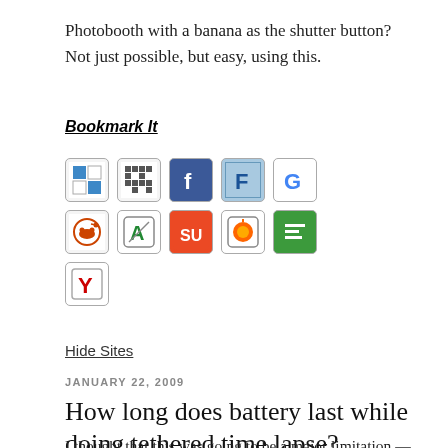Photobooth with a banana as the shutter button?  Not just possible, but easy, using this.
Bookmark It
[Figure (other): Social bookmarking icons arranged in three rows: Row 1 - Delicious, some grid icon, Facebook, Friendfeed (F), Google; Row 2 - Reddit, Technorati/slash, StumbleUpon, some orange icon, some green icon; Row 3 - Yahoo (Y)]
Hide Sites
JANUARY 22, 2009
How long does battery last while doing tethered time lapse?
I thought that this was going to be a major limitation —